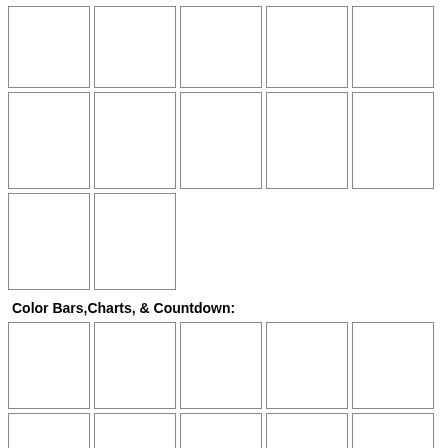[Figure (other): Grid of 5 empty bordered squares, row 1]
[Figure (other): Grid of 5 empty bordered squares, row 2]
[Figure (other): Grid of 2 empty bordered squares, row 3]
Color Bars,Charts, & Countdown:
[Figure (other): Grid of 5 empty bordered squares, bottom section row 1]
[Figure (other): Grid of 5 empty bordered squares, bottom section row 2]